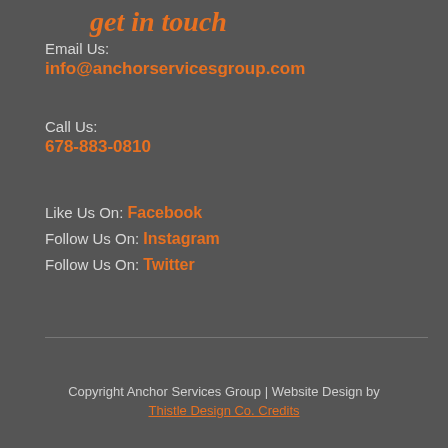get in touch
Email Us:
info@anchorservicesgroup.com
Call Us:
678-883-0810
Like Us On: Facebook
Follow Us On: Instagram
Follow Us On: Twitter
Copyright Anchor Services Group | Website Design by Thistle Design Co. Credits